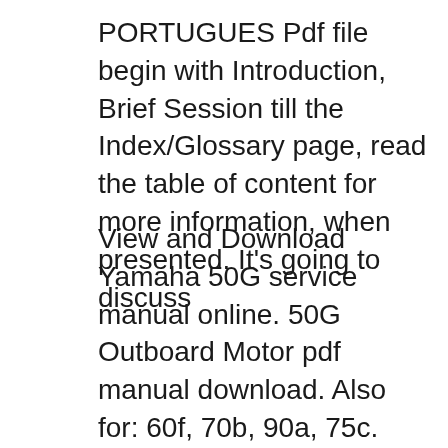PORTUGUES Pdf file begin with Introduction, Brief Session till the Index/Glossary page, read the table of content for more information, when presented. It's going to discuss
View and Download Yamaha 50G service manual online. 50G Outboard Motor pdf manual download. Also for: 60f, 70b, 90a, 75c. Get hp 50g manual portugues PDF file for free from our online library PDF file: hp 50g manual portugues Page: 1 2. HP 50G MANUAL PORTUGUES INTRODUCTION This HP 50G MANUAL PORTUGUES Pdf file begin with Introduction, Brief Session till the Index/Glossary page, read the table of content for more information, when